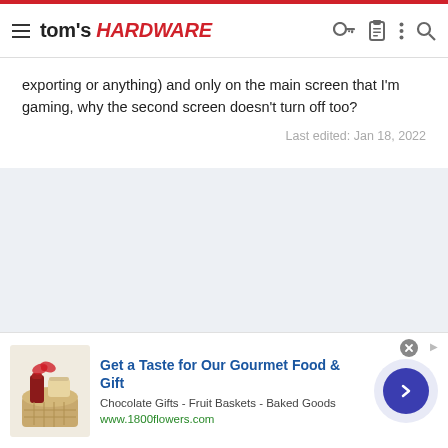tom's HARDWARE
exporting or anything) and only on the main screen that I'm gaming, why the second screen doesn't turn off too?
Last edited: Jan 18, 2022
[Figure (photo): Advertisement banner: Get a Taste for Our Gourmet Food & Gift - Chocolate Gifts - Fruit Baskets - Baked Goods - www.1800flowers.com]